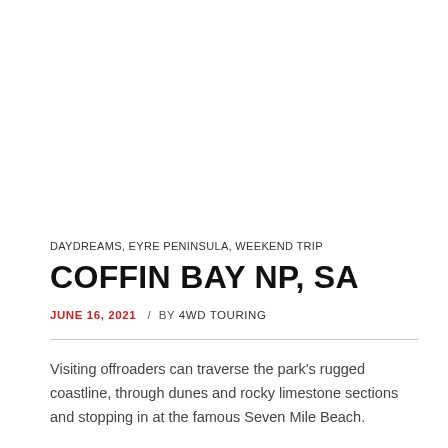DAYDREAMS, EYRE PENINSULA, WEEKEND TRIP
COFFIN BAY NP, SA
JUNE 16, 2021 / BY 4WD TOURING
Visiting offroaders can traverse the park's rugged coastline, through dunes and rocky limestone sections and stopping in at the famous Seven Mile Beach.